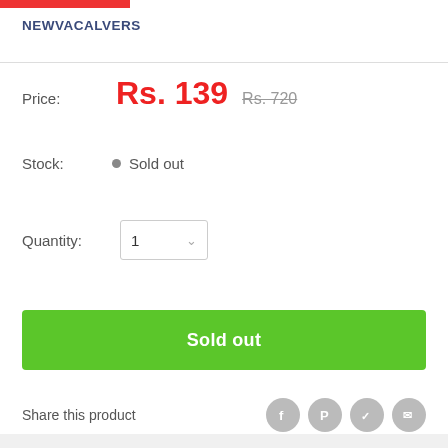NEWVACALVERS
Price: Rs. 139  Rs. 720
Stock: Sold out
Quantity: 1
Sold out
Share this product